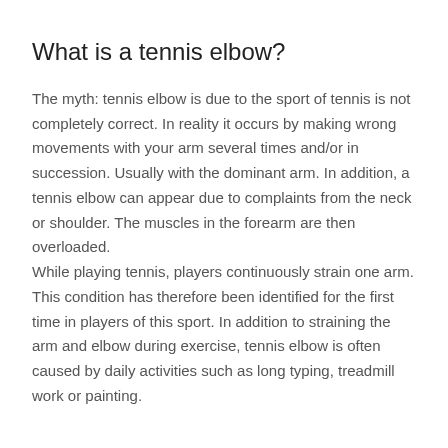What is a tennis elbow?
The myth: tennis elbow is due to the sport of tennis is not completely correct. In reality it occurs by making wrong movements with your arm several times and/or in succession. Usually with the dominant arm. In addition, a tennis elbow can appear due to complaints from the neck or shoulder. The muscles in the forearm are then overloaded.
While playing tennis, players continuously strain one arm. This condition has therefore been identified for the first time in players of this sport. In addition to straining the arm and elbow during exercise, tennis elbow is often caused by daily activities such as long typing, treadmill work or painting.